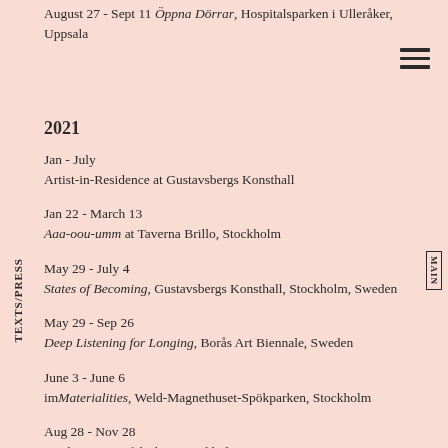August 27 - Sept 11
Öppna Dörrar, Hospitalsparken i Ulleråker, Uppsala
2021
Jan - July
Artist-in-Residence at Gustavsbergs Konsthall
Jan 22 - March 13
Aaa-oou-umm at Taverna Brillo, Stockholm
May 29 - July 4
States of Becoming, Gustavsbergs Konsthall, Stockholm, Sweden
May 29 - Sep 26
Deep Listening for Longing, Borås Art Biennale, Sweden
June 3 - June 6
imMmaterialities, Weld-Magnethuset-Spökparken, Stockholm
Aug 28 - Nov 28
Symbiosis, Färgfabriken, Stockholm
Sep 18 - Oct 10
Mama Dada Gaga - Det som framträder [that what emerges]
Gallery Lars Palm, Sandviken